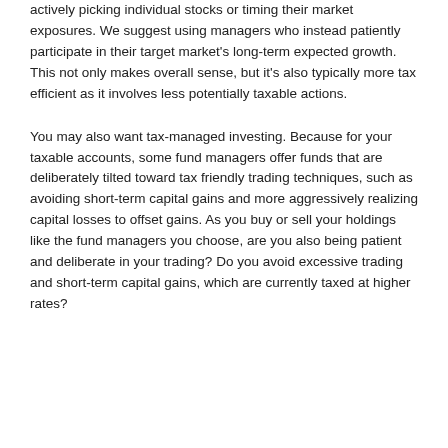actively picking individual stocks or timing their market exposures. We suggest using managers who instead patiently participate in their target market's long-term expected growth. This not only makes overall sense, but it's also typically more tax efficient as it involves less potentially taxable actions.
You may also want tax-managed investing. Because for your taxable accounts, some fund managers offer funds that are deliberately tilted toward tax friendly trading techniques, such as avoiding short-term capital gains and more aggressively realizing capital losses to offset gains. As you buy or sell your holdings like the fund managers you choose, are you also being patient and deliberate in your trading? Do you avoid excessive trading and short-term capital gains, which are currently taxed at higher rates?